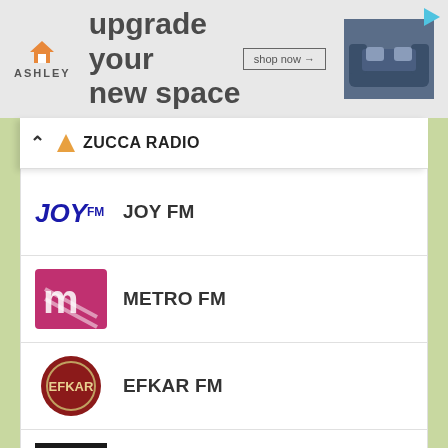[Figure (screenshot): Ashley Furniture advertisement banner with orange house logo, 'upgrade your new space' text, 'shop now' button, and sofa image]
ZUCCA RADIO
JOY FM
METRO FM
EFKAR FM
KATHALINA RADIO
Country Radios
ARGENTINA (237)
AUSTRALIA (285)